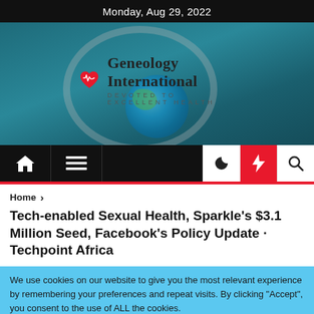Monday, Aug 29, 2022
[Figure (photo): Geneology International website header with stethoscope and globe photo background, red heart logo with EKG line, site title 'Geneology International' and subtitle 'DEVOTED TO EXCELLENT HEALTH']
[Figure (screenshot): Navigation bar with home icon, hamburger menu, dark/light mode, lightning/breaking news, and search icons]
Home > Tech-enabled Sexual Health, Sparkle's $3.1 Million Seed, Facebook's Policy Update · Techpoint Africa
Tech-enabled Sexual Health, Sparkle's $3.1 Million Seed, Facebook's Policy Update · Techpoint Africa
We use cookies on our website to give you the most relevant experience by remembering your preferences and repeat visits. By clicking "Accept", you consent to the use of ALL the cookies.